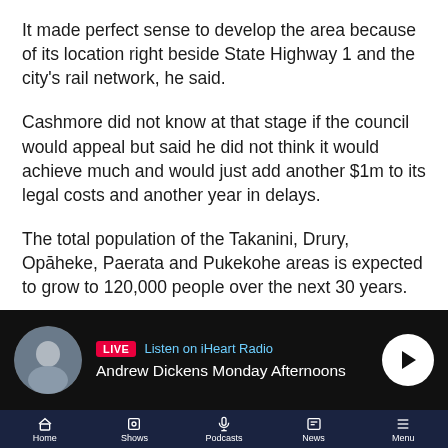It made perfect sense to develop the area because of its location right beside State Highway 1 and the city's rail network, he said.
Cashmore did not know at that stage if the council would appeal but said he did not think it would achieve much and would just add another $1m to its legal costs and another year in delays.
The total population of the Takanini, Drury, Opāheke, Paerata and Pukekohe areas is expected to grow to 120,000 people over the next 30 years.
Both Kiwi Property and Oyster Capital were approached for comment for this story.
[Figure (screenshot): iHeart Radio live radio player bar showing Andrew Dickens Monday Afternoons with LIVE badge and play button]
[Figure (screenshot): Mobile navigation bar with Home, Shows, Podcasts, News, Menu icons on dark navy background]